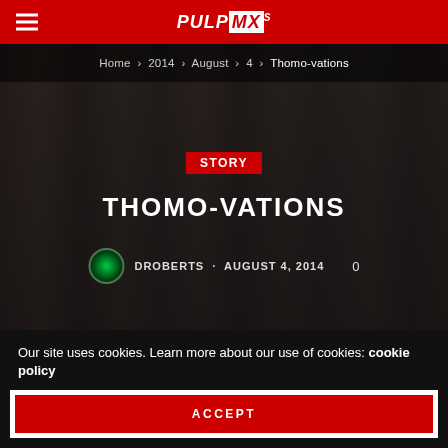PULPMX
Home > 2014 > August > 4 > Thomo-vations
STORY
THOMO-VATIONS
DROBERTS - AUGUST 4, 2014   0
[Figure (photo): Dark background photo of motocross event with crowd figures visible]
Just another Pulpmx fan that has infiltrated American motocross
Just another Pulpmx fan that has infiltrated American motocross (partial, italic)
Our site uses cookies. Learn more about our use of cookies: cookie policy
ACCEPT